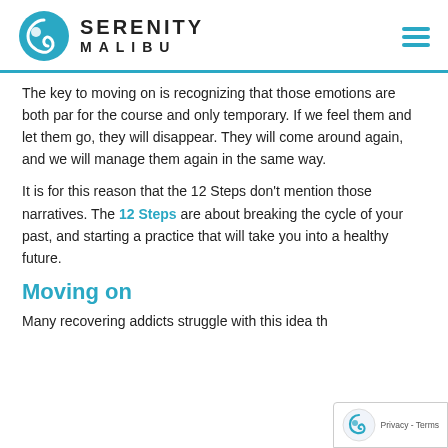[Figure (logo): Serenity Malibu logo with teal circular icon and text SERENITY MALIBU]
The key to moving on is recognizing that those emotions are both par for the course and only temporary. If we feel them and let them go, they will disappear. They will come around again, and we will manage them again in the same way.
It is for this reason that the 12 Steps don't mention those narratives. The 12 Steps are about breaking the cycle of your past, and starting a practice that will take you into a healthy future.
Moving on
Many recovering addicts struggle with this idea th